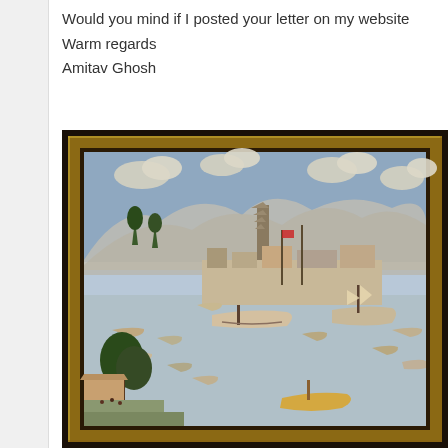Would you mind if I posted your letter on my website
Warm regards
Amitav Ghosh
[Figure (photo): A framed Chinese harbor scene artwork/diorama showing a busy port with many boats, junks, and sailing vessels on water, with buildings, trees, mountains, and clouds in the background. The scene appears to be an intricate carved or sculpted relief work in a gilded frame.]